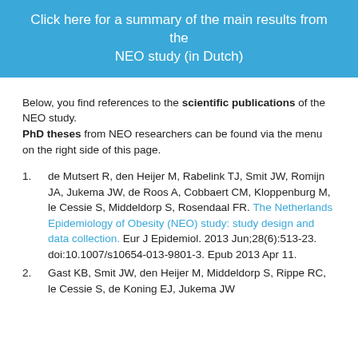Click here for a summary of the main results from the NEO study (in Dutch)
Below, you find references to the scientific publications of the NEO study. PhD theses from NEO researchers can be found via the menu on the right side of this page.
1. de Mutsert R, den Heijer M, Rabelink TJ, Smit JW, Romijn JA, Jukema JW, de Roos A, Cobbaert CM, Kloppenburg M, le Cessie S, Middeldorp S, Rosendaal FR. The Netherlands Epidemiology of Obesity (NEO) study: study design and data collection. Eur J Epidemiol. 2013 Jun;28(6):513-23. doi:10.1007/s10654-013-9801-3. Epub 2013 Apr 11.
2. Gast KB, Smit JW, den Heijer M, Middeldorp S, Rippe RC, le Cessie S, de Koning EJ, Jukema JW